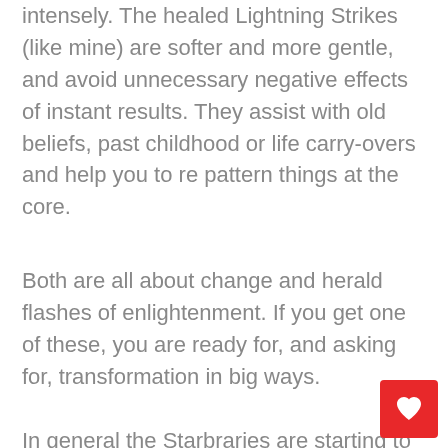intensely. The healed Lightning Strikes (like mine) are softer and more gentle, and avoid unnecessary negative effects of instant results. They assist with old beliefs, past childhood or life carry-overs and help you to re pattern things at the core.
Both are all about change and herald flashes of enlightenment. If you get one of these, you are ready for, and asking for, transformation in big ways.
In general the Starbraries are starting to appear rapidly and are being united with their guardians who will need them to work with things currently shifting and things to come, and one has to ask why that may be? I believe it is because, as in
[Figure (other): Red square button with a white heart icon in the bottom-right corner of the page]